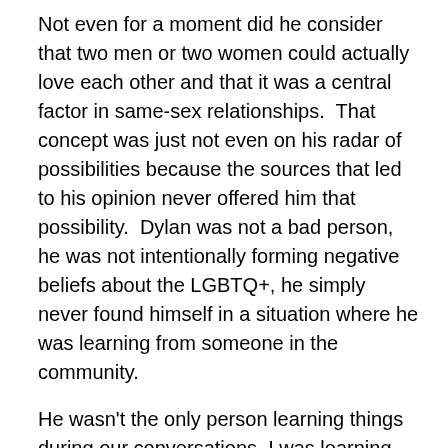Not even for a moment did he consider that two men or two women could actually love each other and that it was a central factor in same-sex relationships.  That concept was just not even on his radar of possibilities because the sources that led to his opinion never offered him that possibility.  Dylan was not a bad person, he was not intentionally forming negative beliefs about the LGBTQ+, he simply never found himself in a situation where he was learning from someone in the community.
He wasn't the only person learning things during our conversations, I was learning things too.  About how his perspective was formed, why he held certain opinions, where he was getting his information, what people, books, and media sources had built up a veil through which he viewed something he had no firsthand experience with.  By seeing and understanding the barrier between us, we